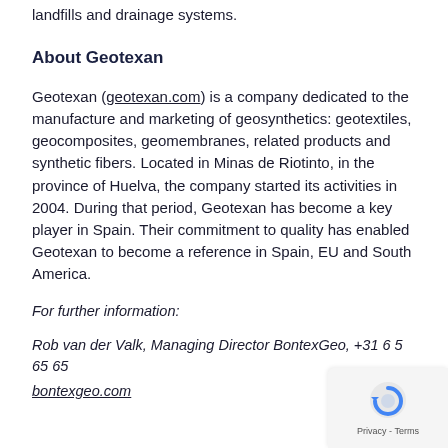landfills and drainage systems.
About Geotexan
Geotexan (geotexan.com) is a company dedicated to the manufacture and marketing of geosynthetics: geotextiles, geocomposites, geomembranes, related products and synthetic fibers. Located in Minas de Riotinto, in the province of Huelva, the company started its activities in 2004. During that period, Geotexan has become a key player in Spain. Their commitment to quality has enabled Geotexan to become a reference in Spain, EU and South America.
For further information:
Rob van der Valk, Managing Director BontexGeo, +31 6 5 65 65
bontexgeo.com